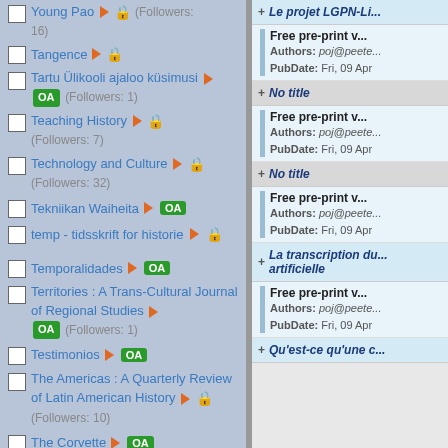Young Pao (Followers: 16)
Tangence
Tartu Ülikooli ajaloo küsimusi OA (Followers: 1)
Teaching History (Followers: 7)
Technology and Culture (Followers: 32)
Tekniikan Waiheita OA
temp - tidsskrift for historie
Temporalidades OA
Territories : A Trans-Cultural Journal of Regional Studies OA (Followers: 1)
Testimonios OA
The Americas : A Quarterly Review of Latin American History (Followers: 10)
The Corvette OA
The Court Historian : The
Le projet LGPN-Li...
Free pre-print v...
Authors: poj@peete... PubDate: Fri, 09 Apr
No title
Free pre-print v...
Authors: poj@peete... PubDate: Fri, 09 Apr
No title
Free pre-print v...
Authors: poj@peete... PubDate: Fri, 09 Apr
La transcription du... artificielle
Free pre-print v...
Authors: poj@peete... PubDate: Fri, 09 Apr
Qu'est-ce qu'une c...